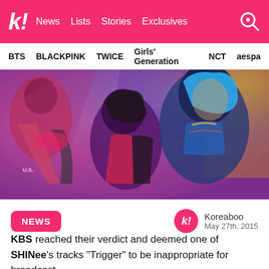k! News Lists Stories Exclusives
BTS BLACKPINK TWICE Girls' Generation NCT aespa
[Figure (photo): Three K-pop group SHINee members in a dramatic low-angle shot with pink, blue, and orange lighting. They are wearing streetwear and one has blue hair.]
NEWS | Koreaboo May 27th, 2015
KBS reached their verdict and deemed one of SHINee's tracks “Trigger” to be inappropriate for broadcast.